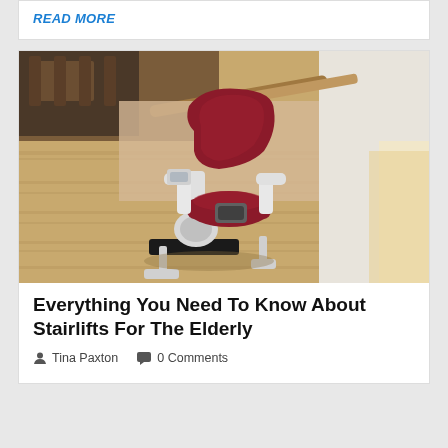READ MORE
[Figure (photo): A stairlift chair with red upholstery and white mechanical frame, positioned in a hallway with wooden flooring and white walls. The chair has armrests, a footrest, and a control panel.]
Everything You Need To Know About Stairlifts For The Elderly
Tina Paxton   0 Comments